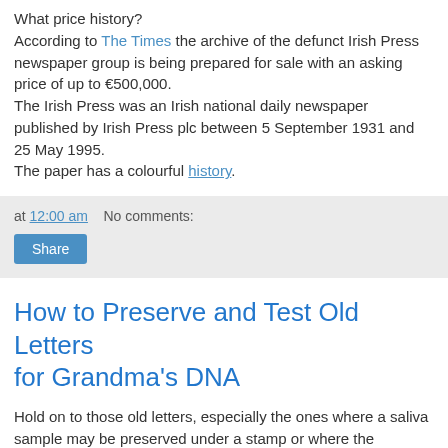What price history?
According to The Times the archive of the defunct Irish Press newspaper group is being prepared for sale with an asking price of up to €500,000.
The Irish Press was an Irish national daily newspaper published by Irish Press plc between 5 September 1931 and 25 May 1995.
The paper has a colourful history.
at 12:00 am   No comments:
Share
How to Preserve and Test Old Letters for Grandma's DNA
Hold on to those old letters, especially the ones where a saliva sample may be preserved under a stamp or where the envelope was sealed. Here's a recent blog post by Denise